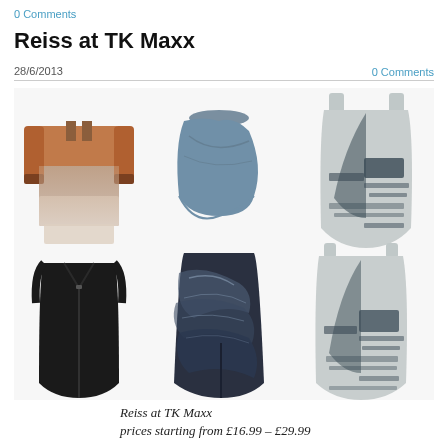0 Comments
Reiss at TK Maxx
28/6/2013
0 Comments
[Figure (photo): Six Reiss clothing items: top row left - brown/rust ombre shirt, top row center - grey draped asymmetric top, top row right - grey printed wrap dress. Bottom row left - black sleeveless zip dress, bottom row center - dark marble/abstract printed skirt, bottom row right - grey abstract print wrap dress.]
Reiss at TK Maxx
prices starting from £16.99 - £29.99